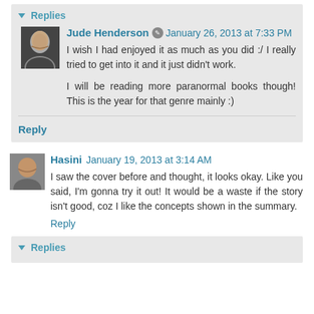Replies
Jude Henderson · January 26, 2013 at 7:33 PM
I wish I had enjoyed it as much as you did :/ I really tried to get into it and it just didn't work.

I will be reading more paranormal books though! This is the year for that genre mainly :)
Reply
Hasini · January 19, 2013 at 3:14 AM
I saw the cover before and thought, it looks okay. Like you said, I'm gonna try it out! It would be a waste if the story isn't good, coz I like the concepts shown in the summary.
Reply
Replies